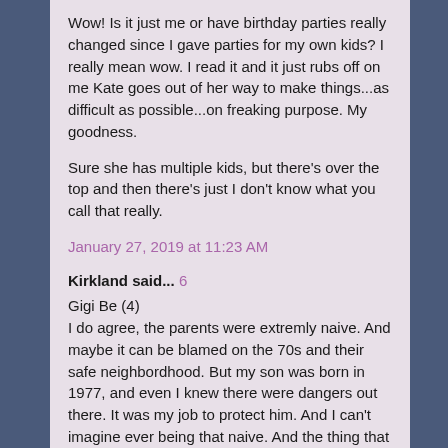Wow! Is it just me or have birthday parties really changed since I gave parties for my own kids? I really mean wow. I read it and it just rubs off on me Kate goes out of her way to make things...as difficult as possible...on freaking purpose. My goodness.
Sure she has multiple kids, but there's over the top and then there's just I don't know what you call that really.
January 27, 2019 at 11:23 AM
Kirkland said... 6
Gigi Be (4)
I do agree, the parents were extremly naive. And maybe it can be blamed on the 70s and their safe neighbordhood. But my son was born in 1977, and even I knew there were dangers out there. It was my job to protect him. And I can't imagine ever being that naive. And the thing that really got to me was the fact they went along with "B" because he threatened blackmail, so they did it to protect themselves! So it wasn't total naivete, it was...